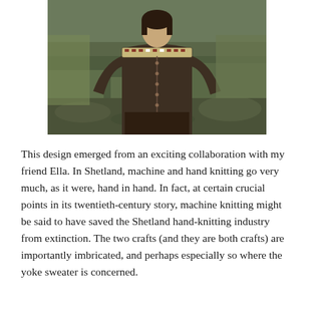[Figure (photo): A person wearing a dark brown hand-knitted cardigan with a colorwork yoke pattern at the shoulders, over an orange top and dark skirt. They are standing outdoors in a green and brown moorland landscape.]
This design emerged from an exciting collaboration with my friend Ella. In Shetland, machine and hand knitting go very much, as it were, hand in hand. In fact, at certain crucial points in its twentieth-century story, machine knitting might be said to have saved the Shetland hand-knitting industry from extinction. The two crafts (and they are both crafts) are importantly imbricated, and perhaps especially so where the yoke sweater is concerned.